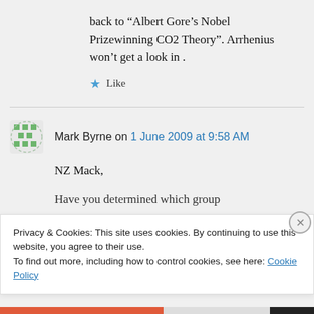back to “Albert Gore’s Nobel Prizewinning CO2 Theory”. Arrhenius won’t get a look in .
★ Like
Mark Byrne on 1 June 2009 at 9:58 AM
NZ Mack,
Have you determined which group
Privacy & Cookies: This site uses cookies. By continuing to use this website, you agree to their use.
To find out more, including how to control cookies, see here: Cookie Policy
Close and accept